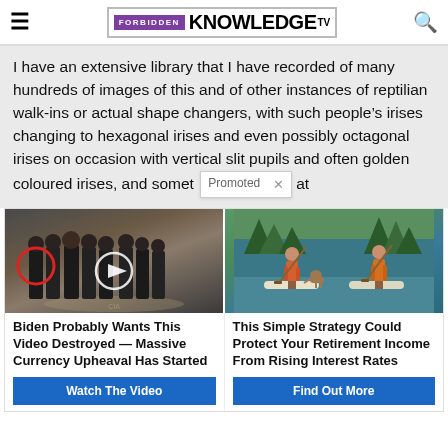FORBIDDEN KNOWLEDGE TV
I have an extensive library that I have recorded of many hundreds of images of this and of other instances of reptilian walk-ins or actual shape changers, with such people's irises changing to hexagonal irises and even possibly octagonal irises on occasion with vertical slit pupils and often golden coloured irises, and somet [Promoted ×] at
[Figure (photo): Left: group of men in suits at CIA, one circled in red with play button overlay. Right: illustration of two people paddleboarding with a dog. Promoted ad content.]
Biden Probably Wants This Video Destroyed — Massive Currency Upheaval Has Started
Watch The Video
This Simple Strategy Could Protect Your Retirement Income From Rising Interest Rates
Find Out More